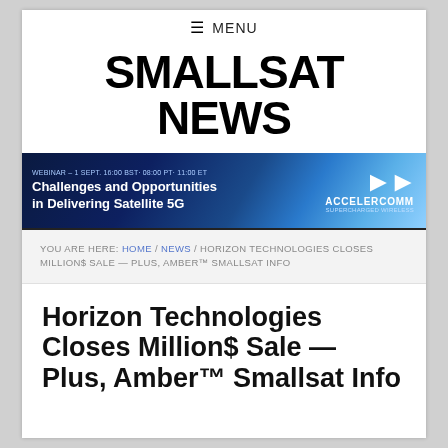≡ MENU
SMALLSAT NEWS
[Figure (infographic): Banner ad for AccelerComm webinar: 'WEBINAR – 1 SEPT. 16:00 BST, 08:00 PT, 11:00 ET / Challenges and Opportunities in Delivering Satellite 5G' with AccelerComm logo and blue space/network background]
YOU ARE HERE: HOME / NEWS / HORIZON TECHNOLOGIES CLOSES MILLION$ SALE — PLUS, AMBER™ SMALLSAT INFO
Horizon Technologies Closes Million$ Sale — Plus, Amber™ Smallsat Info